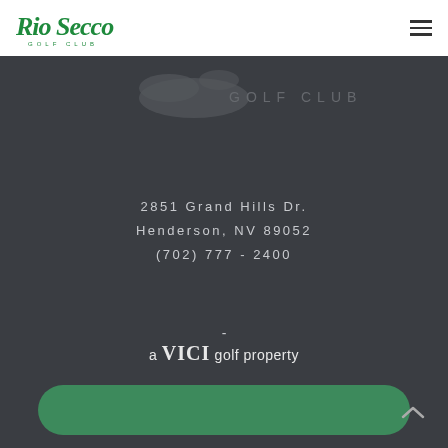[Figure (logo): Rio Secco Golf Club logo in green script with 'GOLF CLUB' in spaced letters below]
[Figure (logo): Partial Rio Secco Golf Club logo watermark on dark background]
2851 Grand Hills Dr.
Henderson, NV 89052
(702) 777-2400
-
a VICI golf property
[Figure (other): Green rounded rectangle button]
[Figure (other): Scroll up chevron arrow icon]